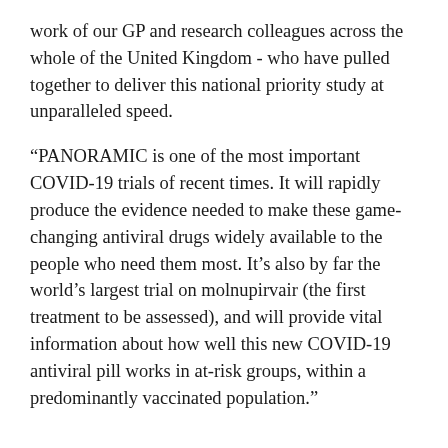work of our GP and research colleagues across the whole of the United Kingdom - who have pulled together to deliver this national priority study at unparalleled speed.
“PANORAMIC is one of the most important COVID-19 trials of recent times. It will rapidly produce the evidence needed to make these game-changing antiviral drugs widely available to the people who need them most. It’s also by far the world’s largest trial on molnupirvair (the first treatment to be assessed), and will provide vital information about how well this new COVID-19 antiviral pill works in at-risk groups, within a predominantly vaccinated population.”